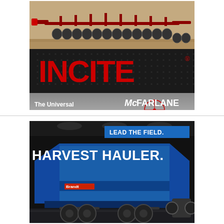[Figure (illustration): McFarlane INCITE tillage equipment advertisement. Shows red tillage implement on tan/sandy background at top. Large red bold 'INCITE®' text on black background. Bottom section with metallic gradient shows 'The Universal Tillage* Tool' text on left and McFarlane AG Manufacturing logo on right.]
[Figure (illustration): Brandt Industries Harvest Hauler advertisement. Blue grain cart/hauler on dark indoor background. Blue banner top right reads 'LEAD THE FIELD.' Large white bold text 'HARVEST HAULER.' Brandt logo visible on the blue equipment.]